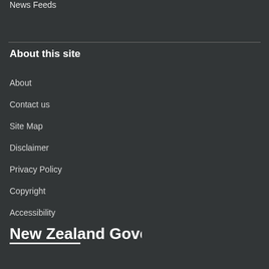News Feeds
About this site
About
Contact us
Site Map
Disclaimer
Privacy Policy
Copyright
Accessibility
[Figure (logo): New Zealand Government logo with text 'New Zealand Government' and underline beneath 'New Zealand']